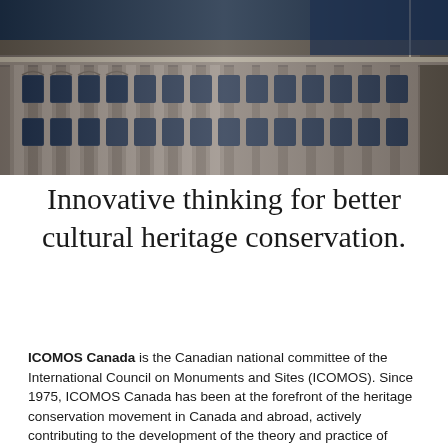[Figure (photo): Exterior photograph of a classical stone heritage building facade with ornate architectural details and windows, taken from a low angle against a dark blue sky. A flagpole is visible at upper right.]
Innovative thinking for better cultural heritage conservation.
ICOMOS Canada is the Canadian national committee of the International Council on Monuments and Sites (ICOMOS). Since 1975, ICOMOS Canada has been at the forefront of the heritage conservation movement in Canada and abroad, actively contributing to the development of the theory and practice of cultural heritage conservation.